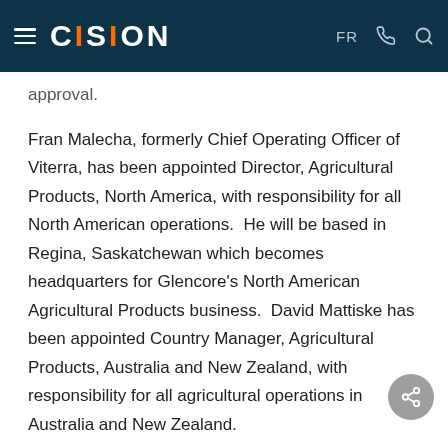CISION — FR
approval.
Fran Malecha, formerly Chief Operating Officer of Viterra, has been appointed Director, Agricultural Products, North America, with responsibility for all North American operations.  He will be based in Regina, Saskatchewan which becomes headquarters for Glencore's North American Agricultural Products business.  David Mattiske has been appointed Country Manager, Agricultural Products, Australia and New Zealand, with responsibility for all agricultural operations in Australia and New Zealand.
Chris Mahoney, Director of Agricultural Products of